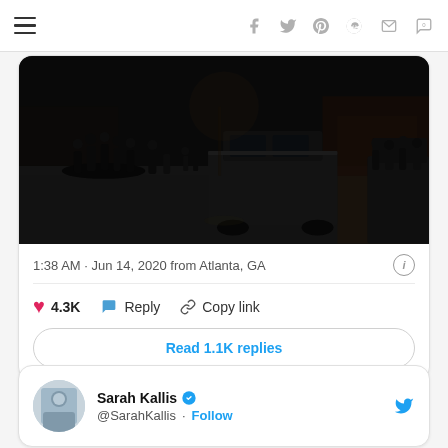Navigation header with hamburger menu and social share icons: facebook, twitter, pinterest, reddit, mail, comment
[Figure (photo): Nighttime crowd scene photo embedded in tweet, showing people gathered in a parking lot with cars, dark outdoor setting]
1:38 AM · Jun 14, 2020 from Atlanta, GA
4.3K   Reply   Copy link
Read 1.1K replies
Sarah Kallis @SarahKallis · Follow